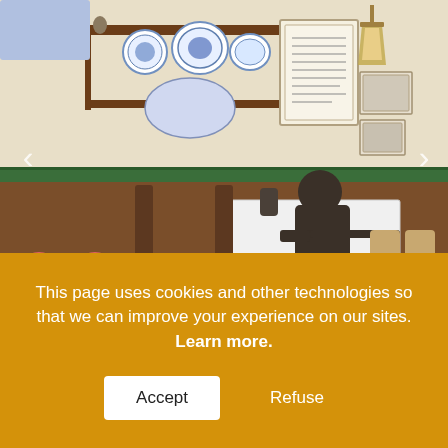[Figure (photo): Interior of a historic restaurant/cafe with wooden booths, decorative blue and white ceramic plates on a shelf, a bronze or dark metal statue of a seated person at a table, framed pictures on the wall, and a lantern light fixture. Navigation arrows visible on left and right sides. Camera and map pin icons in coral/pink circles at bottom left.]
Location of the Café Alameda that no longer exists, where El Rinconcillo's tertulia was located. Today it is part of the Chikito Restaurant.
This page uses cookies and other technologies so that we can improve your experience on our sites. Learn more.
Accept   Refuse